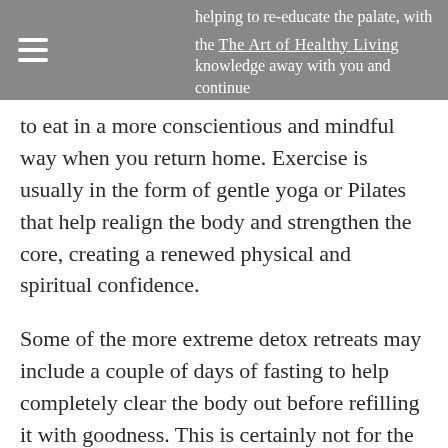helping to re-educate the palate, with the The Art of Healthy Living knowledge away with you and continue
to eat in a more conscientious and mindful way when you return home. Exercise is usually in the form of gentle yoga or Pilates that help realign the body and strengthen the core, creating a renewed physical and spiritual confidence.
Some of the more extreme detox retreats may include a couple of days of fasting to help completely clear the body out before refilling it with goodness. This is certainly not for the lighthearted as during the fast you may experience headaches, extreme tiredness and irritability, but they are